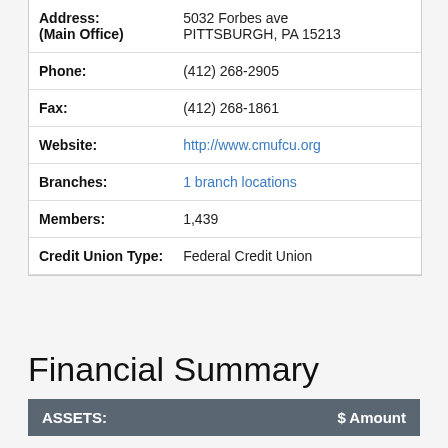| Field | Value |
| --- | --- |
| Address:
(Main Office) | 5032 Forbes ave
PITTSBURGH, PA 15213 |
| Phone: | (412) 268-2905 |
| Fax: | (412) 268-1861 |
| Website: | http://www.cmufcu.org |
| Branches: | 1 branch locations |
| Members: | 1,439 |
| Credit Union Type: | Federal Credit Union |
Financial Summary
| ASSETS: | $ Amount |
| --- | --- |